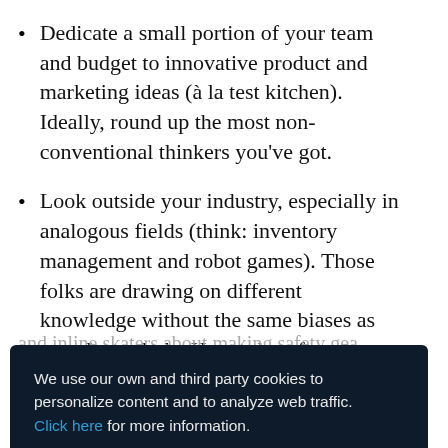Dedicate a small portion of your team and budget to innovative product and marketing ideas (à la test kitchen). Ideally, round up the most non-conventional thinkers you've got.
Look outside your industry, especially in analogous fields (think: inventory management and robot games). Those folks are drawing on different knowledge without the same biases as you. Just ask the Harvard professors who surveyed roofers, carpenters and inline skaters about making safety gear...
We use our own and third party cookies to personalize content and to analyze web traffic. Click here for more information.
campaign actually fits who you are.